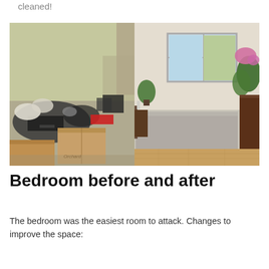cleaned!
[Figure (photo): Before and after photos of a bedroom. Left photo shows a cluttered, messy bedroom with clothes, bags, and cardboard boxes piled on a sofa. Right photo shows the same bedroom cleaned and organized with a neatly made bed, hardwood floors, plants, and flowers on a dresser.]
Bedroom before and after
The bedroom was the easiest room to attack. Changes to improve the space: